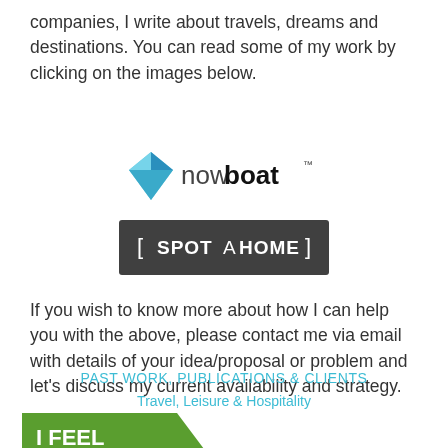companies, I write about travels, dreams and destinations. You can read some of my work by clicking on the images below.
[Figure (logo): nowboat logo — a blue/teal diamond gem icon followed by 'now' in light weight and 'boat' in bold with trademark symbol]
[Figure (logo): Spotahome logo — white bold uppercase text 'SPOTAHOME' on a dark grey rectangular background with square bracket characters on either side]
If you wish to know more about how I can help you with the above, please contact me via email with details of your idea/proposal or problem and let's discuss my current availability and strategy.
PAST WORK, PUBLICATIONS & CLIENTS
Travel, Leisure & Hospitality
[Figure (logo): I Feel Slovenia logo — white bold text 'I FEEL SLOVENIA' on a green pentagon/arrow shape pointing right, with 'LOVE' highlighted within 'SLOVENIA']